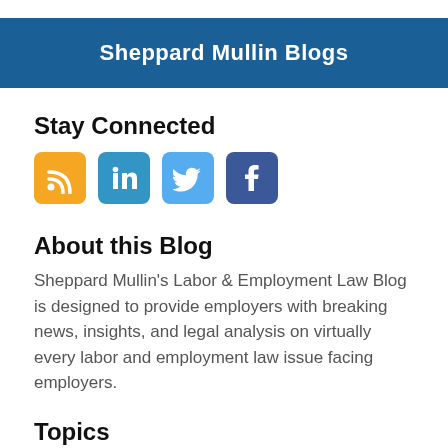Sheppard Mullin Blogs
Stay Connected
[Figure (infographic): Four social media icon buttons: RSS (orange), LinkedIn (blue), Twitter (light blue), Facebook (dark blue)]
About this Blog
Sheppard Mullin’s Labor & Employment Law Blog is designed to provide employers with breaking news, insights, and legal analysis on virtually every labor and employment law issue facing employers.
Topics